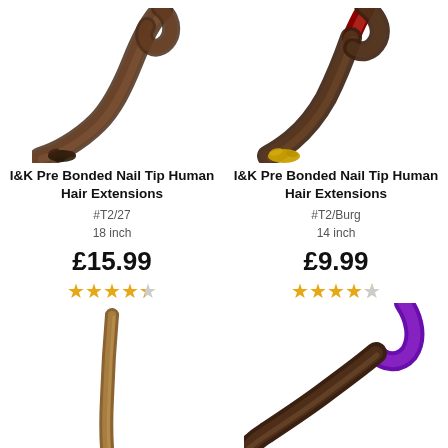[Figure (photo): I&K Pre Bonded Nail Tip Human Hair Extension in color #T2/27, 18 inch - dark brown hair strand with nail tip]
I&K Pre Bonded Nail Tip Human Hair Extensions
#T2/27
18 inch
£15.99
[Figure (photo): I&K Pre Bonded Nail Tip Human Hair Extension in color #T2/Burg, 14 inch - dark hair with red/burgundy tip and yellow bonded nail tip]
I&K Pre Bonded Nail Tip Human Hair Extensions
#T2/Burg
14 inch
£9.99
[Figure (photo): I&K Pre Bonded Nail Tip Human Hair Extension - light brown/golden hair strand]
[Figure (photo): Hair extension with purple/violet tip and dark brown root]